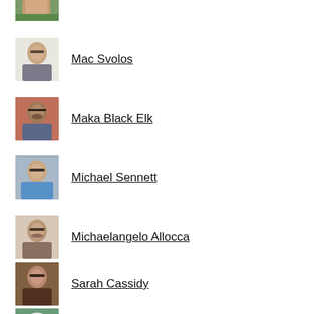[Figure (photo): Partial photo of a person, top cropped]
Mac Svolos
[Figure (photo): Photo of Mac Svolos, man with glasses]
Maka Black Elk
[Figure (photo): Photo of Maka Black Elk, man with beard in front of brick wall]
Michael Sennett
[Figure (photo): Photo of Michael Sennett, man with glasses in blue shirt]
Michaelangelo Allocca
[Figure (photo): Photo of Michaelangelo Allocca, man with glasses]
Sarah Cassidy
[Figure (photo): Photo of Sarah Cassidy, woman with glasses]
Sr. Jeannine Gramick
[Figure (photo): Photo of Sr. Jeannine Gramick, older woman with white hair]
[Figure (photo): Partial photo of another person, bottom cropped]